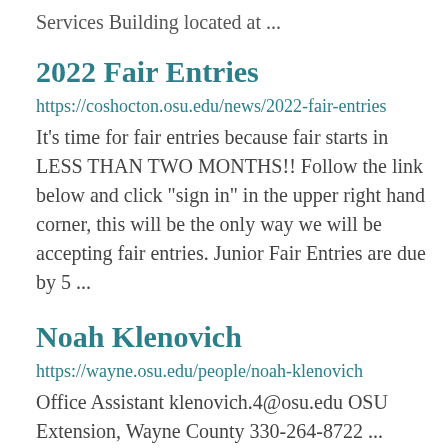Services Building located at ...
2022 Fair Entries
https://coshocton.osu.edu/news/2022-fair-entries
It's time for fair entries because fair starts in LESS THAN TWO MONTHS!! Follow the link below and click "sign in" in the upper right hand corner, this will be the only way we will be accepting fair entries. Junior Fair Entries are due by 5 ...
Noah Klenovich
https://wayne.osu.edu/people/noah-klenovich
Office Assistant klenovich.4@osu.edu OSU Extension, Wayne County 330-264-8722 ...